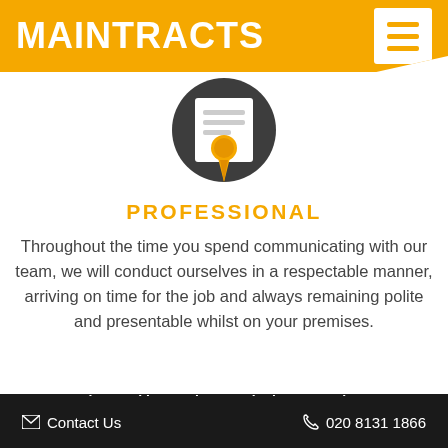MAINTRACTS
[Figure (illustration): Certificate/award icon: a dark circular background with a document showing lines of text and an orange medal/ribbon seal in the center-bottom.]
PROFESSIONAL
Throughout the time you spend communicating with our team, we will conduct ourselves in a respectable manner, arriving on time for the job and always remaining polite and presentable whilst on your premises.
We are using cookies to give you the best experience on our website.
You can find out more about which cookies we are using or switch them off in settings.
Accept
Contact Us   020 8131 1866